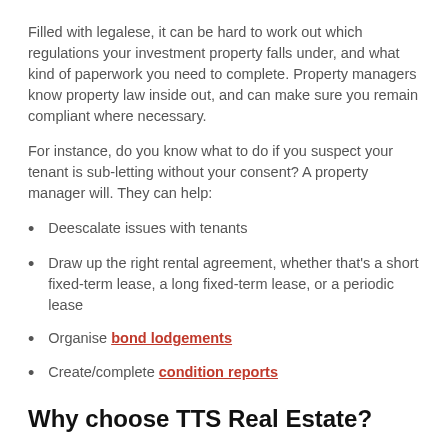Filled with legalese, it can be hard to work out which regulations your investment property falls under, and what kind of paperwork you need to complete. Property managers know property law inside out, and can make sure you remain compliant where necessary.
For instance, do you know what to do if you suspect your tenant is sub-letting without your consent? A property manager will. They can help:
Deescalate issues with tenants
Draw up the right rental agreement, whether that's a short fixed-term lease, a long fixed-term lease, or a periodic lease
Organise bond lodgements
Create/complete condition reports
Why choose TTS Real Estate?